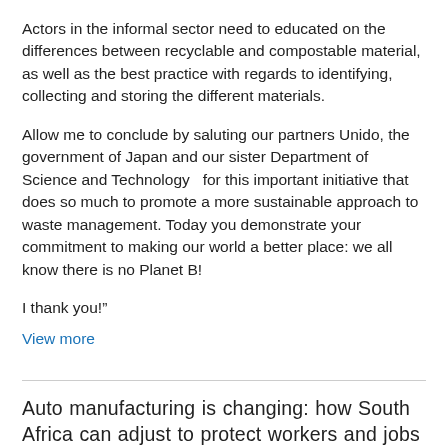Actors in the informal sector need to educated on the differences between recyclable and compostable material, as well as the best practice with regards to identifying, collecting and storing the different materials.
Allow me to conclude by saluting our partners Unido, the government of Japan and our sister Department of Science and Technology  for this important initiative that does so much to promote a more sustainable approach to waste management. Today you demonstrate your commitment to making our world a better place: we all know there is no Planet B!
I thank you!”
View more
Auto manufacturing is changing: how South Africa can adjust to protect workers and jobs
Technological changes in industry have given